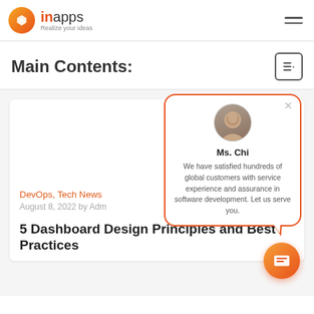inapps — Realize your ideas
Main Contents:
DevOps, Tech News
August 8, 2022 by Adm
5 Dashboard Design Principles and Best Practices
[Figure (screenshot): Chat popup with avatar of Ms. Chi and text: We have satisfied hundreds of global customers with service experience and assurance in software development. Let us serve you.]